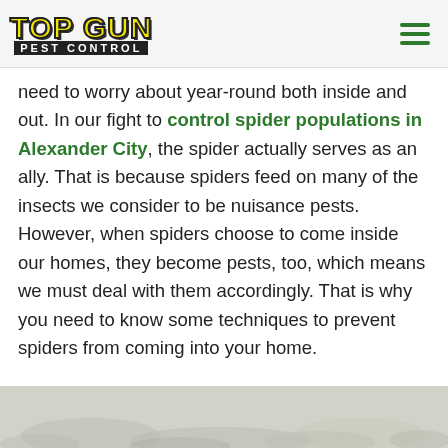TOP GUN PEST CONTROL
need to worry about year-round both inside and out. In our fight to control spider populations in Alexander City, the spider actually serves as an ally. That is because spiders feed on many of the insects we consider to be nuisance pests. However, when spiders choose to come inside our homes, they become pests, too, which means we must deal with them accordingly. That is why you need to know some techniques to prevent spiders from coming into your home.
[Figure (photo): Bottom strip showing a gray concrete or stone texture surface, partially visible at the bottom of the page.]